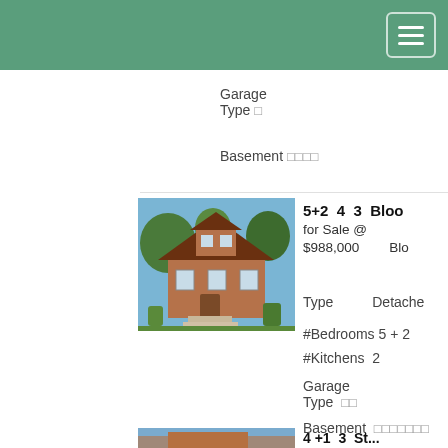Garage Type □
Basement □□□□
[Figure (photo): Exterior photo of a two-storey brick detached house with front porch and trees]
5+2  4  3  Bloo...
for Sale @ $988,000   Blo...
Type   Detache...
#Bedrooms 5 + 2
#Kitchens 2
Garage Type □□
Basement □□□□□□□
[Figure (photo): Partial view of another property listing photo at the bottom]